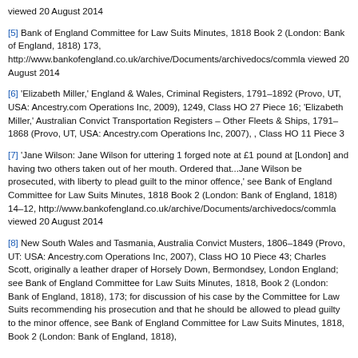viewed 20 August 2014
[5] Bank of England Committee for Law Suits Minutes, 1818 Book 2 (London: Bank of England, 1818) 173, http://www.bankofengland.co.uk/archive/Documents/archivedocs/commla viewed 20 August 2014
[6] 'Elizabeth Miller,' England & Wales, Criminal Registers, 1791–1892 (Provo, UT, USA: Ancestry.com Operations Inc, 2009), 1249, Class HO 27 Piece 16; 'Elizabeth Miller,' Australian Convict Transportation Registers – Other Fleets & Ships, 1791–1868 (Provo, UT, USA: Ancestry.com Operations Inc, 2007), , Class HO 11 Piece 3
[7] 'Jane Wilson: Jane Wilson for uttering 1 forged note at £1 pound at [London] and having two others taken out of her mouth. Ordered that...Jane Wilson be prosecuted, with liberty to plead guilt to the minor offence,' see Bank of England Committee for Law Suits Minutes, 1818 Book 2 (London: Bank of England, 1818) 14–12, http://www.bankofengland.co.uk/archive/Documents/archivedocs/commla viewed 20 August 2014
[8] New South Wales and Tasmania, Australia Convict Musters, 1806–1849 (Provo, UT: USA: Ancestry.com Operations Inc, 2007), Class HO 10 Piece 43; Charles Scott, originally a leather draper of Horsely Down, Bermondsey, London England; see Bank of England Committee for Law Suits Minutes, 1818, Book 2 (London: Bank of England, 1818), 173; for discussion of his case by the Committee for Law Suits recommending his prosecution and that he should be allowed to plead guilty to the minor offence, see Bank of England Committee for Law Suits Minutes, 1818, Book 2 (London: Bank of England, 1818),